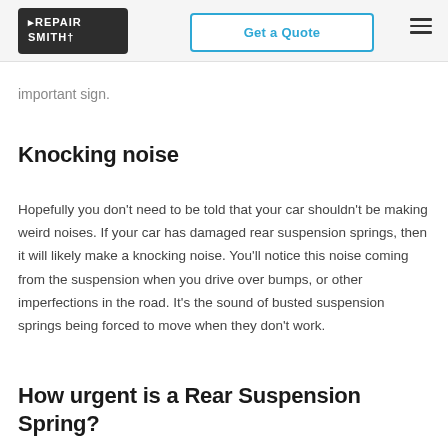RepairSmith | Get a Quote
important sign.
Knocking noise
Hopefully you don't need to be told that your car shouldn't be making weird noises. If your car has damaged rear suspension springs, then it will likely make a knocking noise. You'll notice this noise coming from the suspension when you drive over bumps, or other imperfections in the road. It's the sound of busted suspension springs being forced to move when they don't work.
How urgent is a Rear Suspension Spring?